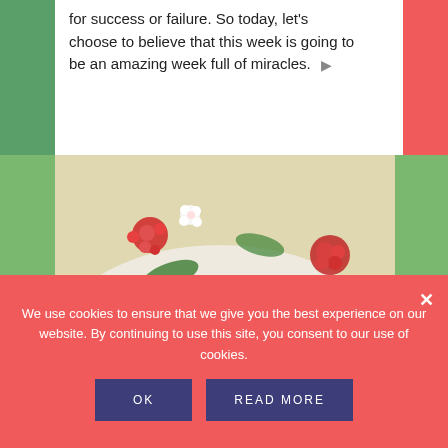for success or failure. So today, let's choose to believe that this week is going to be an amazing week full of miracles.
[Figure (photo): Close-up photo of a floral patterned item with red flowers, yellow flowers, and green leaves on a white background, with outdoor greenery visible.]
Creating a Brand That's Real &
We use cookies to ensure that we give you the best experience on our website. By continuing to use this site, you consent to our use of cookies.